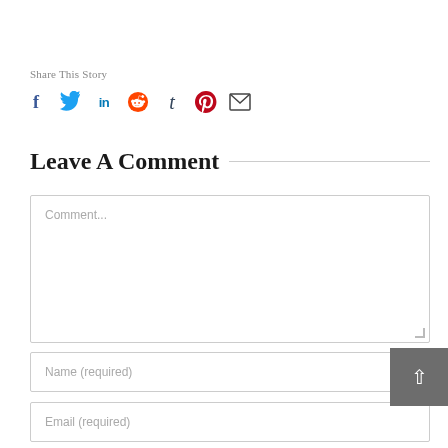Share This Story
[Figure (infographic): Social media sharing icons: Facebook (f), Twitter (bird), LinkedIn (in), Reddit (alien), Tumblr (t), Pinterest (P), Email (envelope)]
Leave A Comment
Comment...
Name (required)
Email (required)